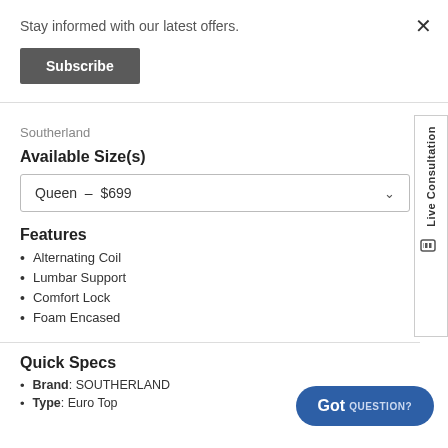Stay informed with our latest offers.
Subscribe
×
Southerland
Available Size(s)
Queen  –  $699
Features
Alternating Coil
Lumbar Support
Comfort Lock
Foam Encased
Quick Specs
Brand: SOUTHERLAND
Type: Euro Top
[Figure (other): Live Consultation side panel button with icon]
[Figure (other): Got Question? button in blue rounded pill shape]